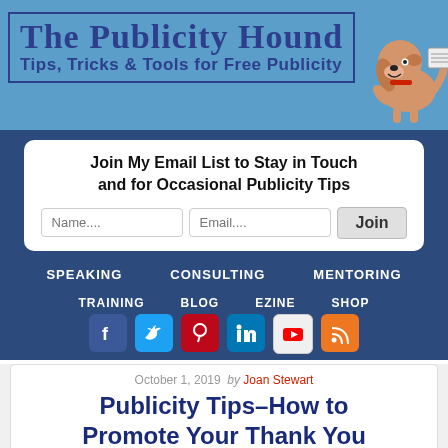[Figure (logo): The Publicity Hound logo banner with cartoon dog and tagline 'Tips, Tricks & Tools for Free Publicity' on blue background]
Join My Email List to Stay in Touch and for Occasional Publicity Tips
Name.... Email.... Join
SPEAKING   CONSULTING   MENTORING
TRAINING   BLOG   EZINE   SHOP
[Figure (infographic): Social media icons: Facebook, Twitter, Pinterest, LinkedIn, YouTube, RSS]
October 1, 2019  by Joan Stewart
Publicity Tips–How to Promote Your Thank You Notes